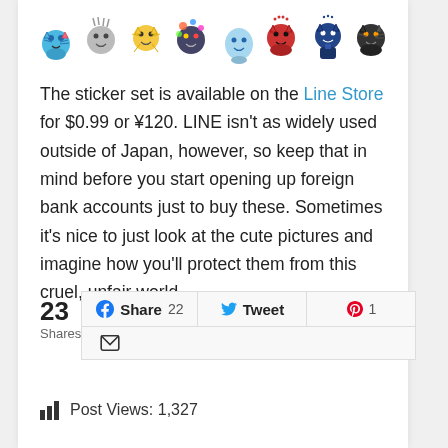[Figure (illustration): Row of 8 cartoon character stickers in various colors and poses]
The sticker set is available on the Line Store for $0.99 or ¥120. LINE isn't as widely used outside of Japan, however, so keep that in mind before you start opening up foreign bank accounts just to buy these. Sometimes it's nice to just look at the cute pictures and imagine how you'll protect them from this cruel, unfair world.
23 Shares  Share 22  Tweet  1  [email icon]
Post Views: 1,327